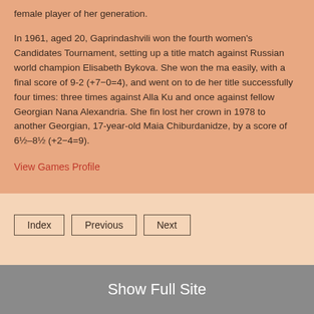female player of her generation.

In 1961, aged 20, Gaprindashvili won the fourth women's Candidates Tournament, setting up a title match against Russian world champion Elisabeth Bykova. She won the match easily, with a final score of 9-2 (+7−0=4), and went on to defend her title successfully four times: three times against Alla Ku... and once against fellow Georgian Nana Alexandria. She fin... lost her crown in 1978 to another Georgian, 17-year-old Maia Chiburdanidze, by a score of 6½–8½ (+2−4=9).
View Games Profile
Index
Previous
Next
Show Full Site